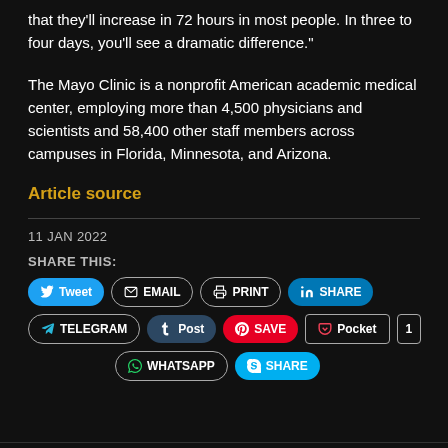that they'll increase in 72 hours in most people. In three to four days, you'll see a dramatic difference."
The Mayo Clinic is a nonprofit American academic medical center, employing more than 4,500 physicians and scientists and 58,400 other staff members across campuses in Florida, Minnesota, and Arizona.
Article source
11 JAN 2022
SHARE THIS:
[Figure (infographic): Social share buttons: Tweet, EMAIL, PRINT, SHARE (LinkedIn), TELEGRAM, Post (Tumblr), SAVE (Pinterest), Pocket, 1, WHATSAPP, SHARE (Skype)]